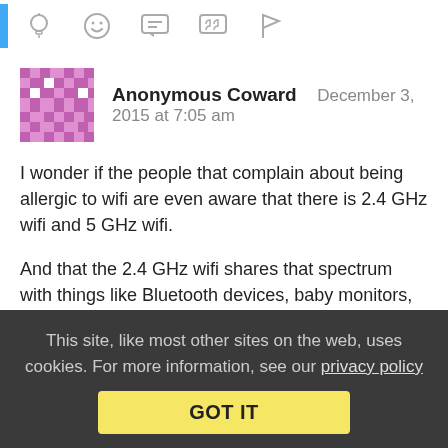[Figure (other): Top navigation bar with icons and blue left accent bar]
Anonymous Coward   December 3, 2015 at 7:05 am
I wonder if the people that complain about being allergic to wifi are even aware that there is 2.4 GHz wifi and 5 GHz wifi.

And that the 2.4 GHz wifi shares that spectrum with things like Bluetooth devices, baby monitors, cordless telephones, and microwave ovens.
Collapse replies (8) | Reply | View in chronology
This site, like most other sites on the web, uses cookies. For more information, see our privacy policy
GOT IT